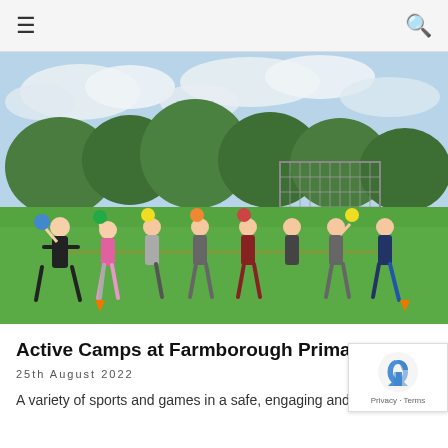≡ [navigation] 🔍 [search]
[Figure (photo): Children at an outdoor summer sports camp on a grass field, holding colourful balls above their heads in various poses. A goal net is visible in the background with trees and a partly cloudy sky.]
Active Camps at Farmborough Primary Scho
25th August 2022
A variety of sports and games in a safe, engaging and friendly